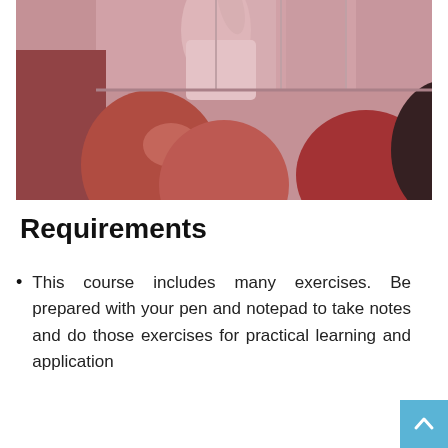[Figure (photo): A classroom scene viewed from behind students' heads. Multiple people with reddish/auburn hair sit facing forward toward a figure (instructor) at the front who appears to be gesturing or writing. The image has a reddish-pink color tint overlay. One person in the right foreground has dark hair.]
Requirements
This course includes many exercises. Be prepared with your pen and notepad to take notes and do those exercises for practical learning and application